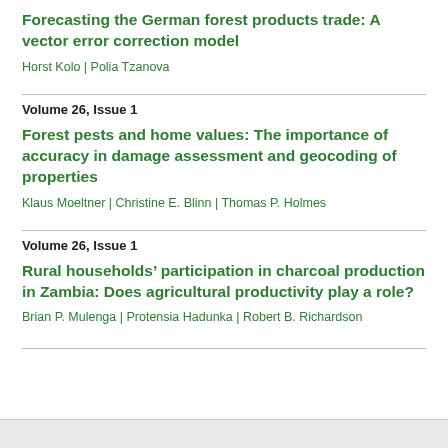Forecasting the German forest products trade: A vector error correction model
Horst Kolo | Polia Tzanova
Volume 26, Issue 1
Forest pests and home values: The importance of accuracy in damage assessment and geocoding of properties
Klaus Moeltner | Christine E. Blinn | Thomas P. Holmes
Volume 26, Issue 1
Rural households' participation in charcoal production in Zambia: Does agricultural productivity play a role?
Brian P. Mulenga | Protensia Hadunka | Robert B. Richardson